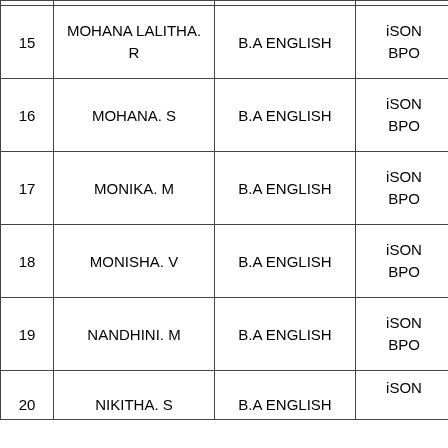|  | Name | Qualification | Company |
| --- | --- | --- | --- |
| 15 | MOHANA LALITHA. R | B.A ENGLISH | iSON BPO |
| 16 | MOHANA. S | B.A ENGLISH | iSON BPO |
| 17 | MONIKA. M | B.A ENGLISH | iSON BPO |
| 18 | MONISHA. V | B.A ENGLISH | iSON BPO |
| 19 | NANDHINI. M | B.A ENGLISH | iSON BPO |
| 20 | NIKITHA. S | B.A ENGLISH | iSON |